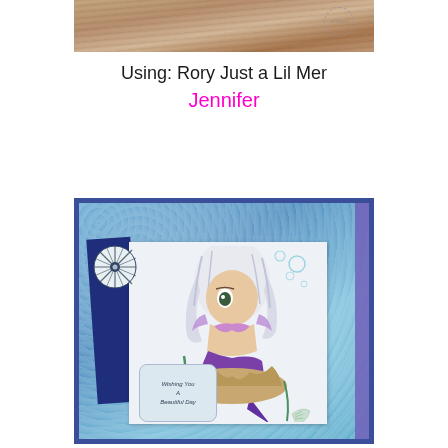[Figure (photo): Top partial photo showing wooden surface with a postage stamp circle in upper right]
Using: Rory Just a Lil Mer
Jennifer
[Figure (photo): Handmade greeting card featuring a mermaid girl (Rory Just a Lil Mer) with white/silver hair, purple mermaid tail, sitting on rocks with seaweed, shells, and starfish. Card has blue watercolor background, navy blue accents, a striped shell rosette decoration, and a sentiment tag reading 'Wishing You A Beautiful Day']